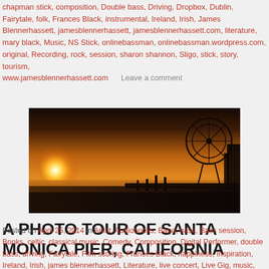chapman stick, composition, Double bass, Driving, Dropbox, Dublin, Fairytale, folk, Frances Black, instrumental, Ireland, Irish, James Blennerhassett, jamesblennerhassett, jamesblennerhassett.com, literature, mary black, Music, NS Stick, onlinebassman, onlinebassman.wordpress.com, original, Recording, rock, session, sharon shannon, Sligo, stick, story, tourism, www.jamesblennerhassett.com    Leave a comment
[Figure (photo): Sunset panorama photo of Santa Monica Pier, California showing a large orange sun setting over the water with a silhouetted Ferris wheel and pier structures on the right side against a warm amber sky]
A PHOTO TOUR OF SANTA MONICA PIER, CALIFORNIA
Posted on April 25, 2014 in Artist, Audiobooks, Band, bass, Bass session, Books, celtic, classical music, Comedy, Composition, Digital Performer, double bass, driving, Fairytale, Film scoring, Frances Black, happiness, Inspiration, Ireland, Irish, james blennerhassett, Literature, live concert, Live Gig, music, Musical theatre, NS Stick, phil jones pure sound, photography, Pop band, Radio, recording session, Rock and Roll, Sandberg bass, sharon Shannon, smiles, Story, Swing, Talent, Television, tourism, Uncategorized